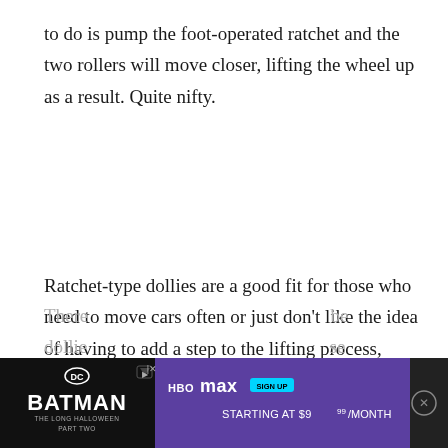to do is pump the foot-operated ratchet and the two rollers will move closer, lifting the wheel up as a result. Quite nifty.
Ratchet-type dollies are a good fit for those who need to move cars often or just don't like the idea of having to add a step to the lifting process, whereas skate-dolly will be a good fit if you only plan on moving your car every once in a while and don't mind the extra effort involved.
There … dollies … se
[Figure (screenshot): Advertisement overlay for Batman: The Long Halloween Part Two on HBO Max, starting at $9.99/month. Contains DC logo, Batman title text, HBO Max logo, Sign Up button, and close/skip controls.]